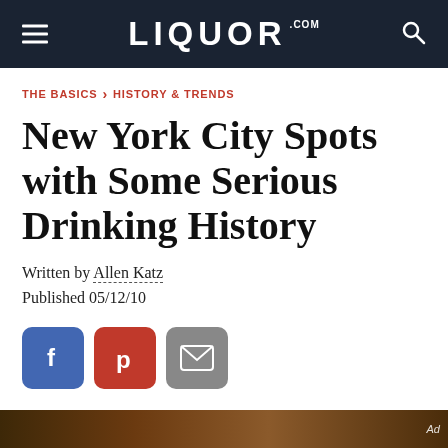LIQUOR.COM
THE BASICS › HISTORY & TRENDS
New York City Spots with Some Serious Drinking History
Written by Allen Katz
Published 05/12/10
[Figure (other): Social share buttons: Facebook, Pinterest, Email]
[Figure (photo): Partial bottom image strip with dark brown tones, labeled Ad]